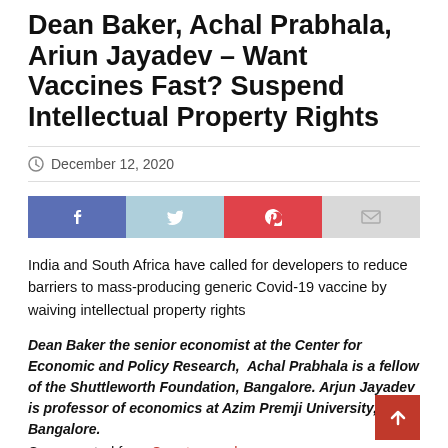Dean Baker, Achal Prabhala, Ariun Jayadev – Want Vaccines Fast? Suspend Intellectual Property Rights
December 12, 2020
[Figure (other): Social share buttons: Facebook (blue), Twitter (light blue), Pinterest (red), Email (grey)]
India and South Africa have called for developers to reduce barriers to mass-producing generic Covid-19 vaccine by waiving intellectual property rights
Dean Baker the senior economist at the Center for Economic and Policy Research,  Achal Prabhala is a fellow of the Shuttleworth Foundation, Bangalore. Arjun Jayadev is professor of economics at Azim Premji University, Bangalore.
Cross-posted from Counterpunch